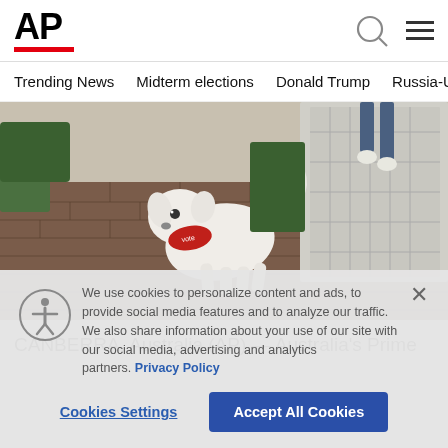AP
Trending News
Midterm elections
Donald Trump
Russia-Ukr
[Figure (photo): A white fluffy dog wearing a red bandana on a brick pathway near a gate and green foliage, with a person visible in the background.]
CANBERRA, Australia (AP) — Australia's Prime
We use cookies to personalize content and ads, to provide social media features and to analyze our traffic. We also share information about your use of our site with our social media, advertising and analytics partners. Privacy Policy
Cookies Settings
Accept All Cookies